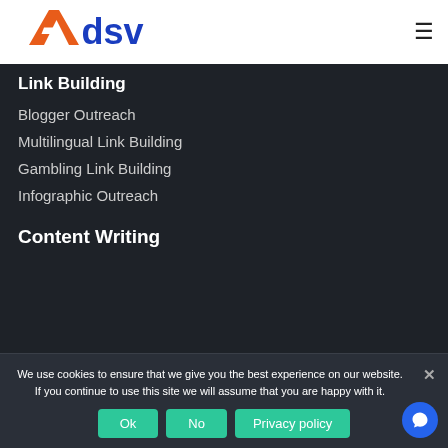[Figure (logo): Adsvoo logo with orange/red A icon and blue text]
Link Building
Blogger Outreach
Multilingual Link Building
Gambling Link Building
Infographic Outreach
Content Writing
We use cookies to ensure that we give you the best experience on our website. If you continue to use this site we will assume that you are happy with it.